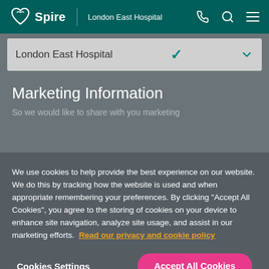Spire | London East Hospital
London East Hospital
Marketing Information
We use cookies to help provide the best experience on our website. We do this by tracking how the website is used and when appropriate remembering your preferences. By clicking "Accept All Cookies", you agree to the storing of cookies on your device to enhance site navigation, analyze site usage, and assist in our marketing efforts. Read our privacy and cookie policy
Cookies Settings
Accept All Cookies